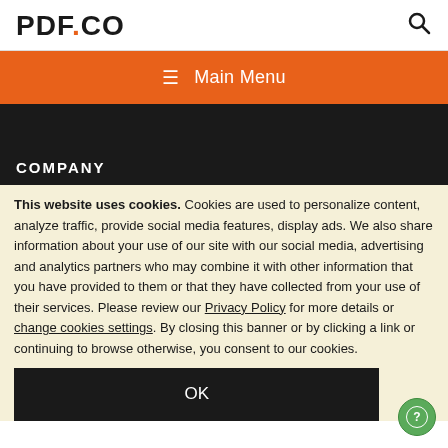PDF.CO
≡  Main Menu
COMPANY
This website uses cookies. Cookies are used to personalize content, analyze traffic, provide social media features, display ads. We also share information about your use of our site with our social media, advertising and analytics partners who may combine it with other information that you have provided to them or that they have collected from your use of their services. Please review our Privacy Policy for more details or change cookies settings. By closing this banner or by clicking a link or continuing to browse otherwise, you consent to our cookies.
OK